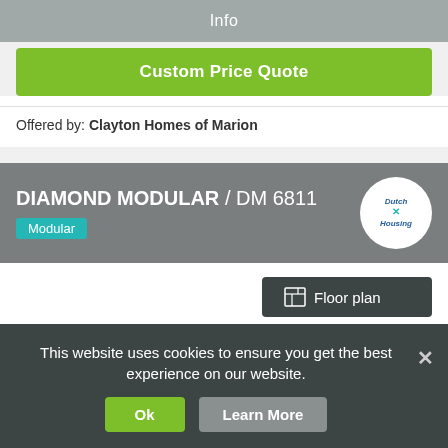Info
Custom Price Quote
Offered by: Clayton Homes of Marion
DIAMOND MODULAR / DM 6811
Modular
[Figure (logo): Dutch Housing brand logo — white circle with 'Dutch X Housing' text in blue]
Floor plan
3D Tour
This website uses cookies to ensure you get the best experience on our website.
Ok
Learn More